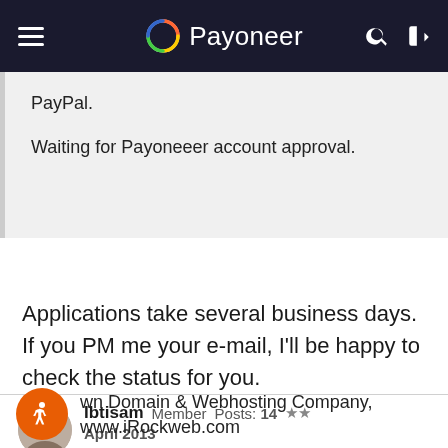Payoneer
PayPal.

Waiting for Payoneeer account approval.
Applications take several business days. If you PM me your e-mail, I'll be happy to check the status for you.
Ibtisam  Member  Posts: 14  ★★
April 2013
wn Domain & Webhosting Company, www.iRockweb.com